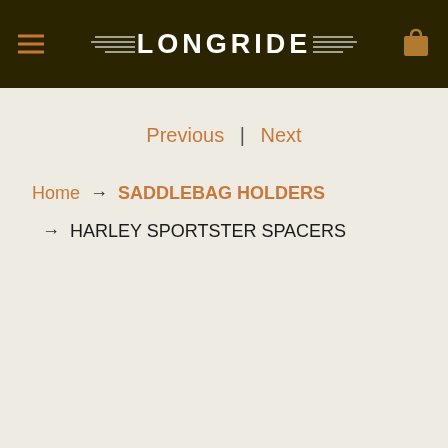LONGRIDE
Previous | Next
Home → SADDLEBAG HOLDERS → HARLEY SPORTSTER SPACERS